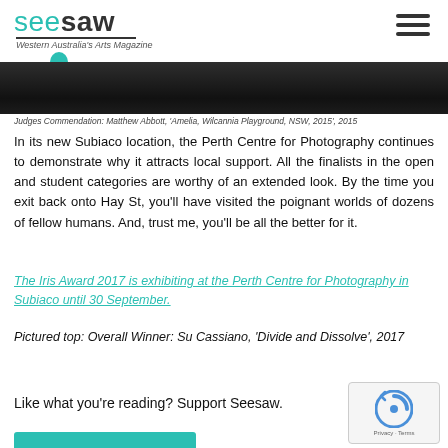seesaw — Western Australia's Arts Magazine
[Figure (photo): Dark photographic strip at top of article]
Judges Commendation: Matthew Abbott, 'Amelia, Wilcannia Playground, NSW, 2015', 2015
In its new Subiaco location, the Perth Centre for Photography continues to demonstrate why it attracts local support. All the finalists in the open and student categories are worthy of an extended look. By the time you exit back onto Hay St, you'll have visited the poignant worlds of dozens of fellow humans. And, trust me, you'll be all the better for it.
The Iris Award 2017 is exhibiting at the Perth Centre for Photography in Subiaco until 30 September.
Pictured top: Overall Winner: Su Cassiano, 'Divide and Dissolve', 2017
Like what you're reading? Support Seesaw.